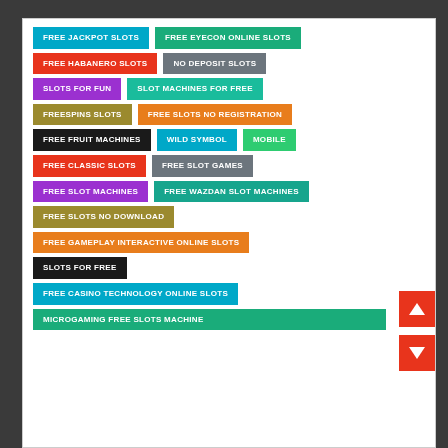FREE JACKPOT SLOTS
FREE EYECON ONLINE SLOTS
FREE HABANERO SLOTS
NO DEPOSIT SLOTS
SLOTS FOR FUN
SLOT MACHINES FOR FREE
FREESPINS SLOTS
FREE SLOTS NO REGISTRATION
FREE FRUIT MACHINES
WILD SYMBOL
MOBILE
FREE CLASSIC SLOTS
FREE SLOT GAMES
FREE SLOT MACHINES
FREE WAZDAN SLOT MACHINES
FREE SLOTS NO DOWNLOAD
FREE GAMEPLAY INTERACTIVE ONLINE SLOTS
SLOTS FOR FREE
FREE CASINO TECHNOLOGY ONLINE SLOTS
MICROGAMING FREE SLOTS MACHINE